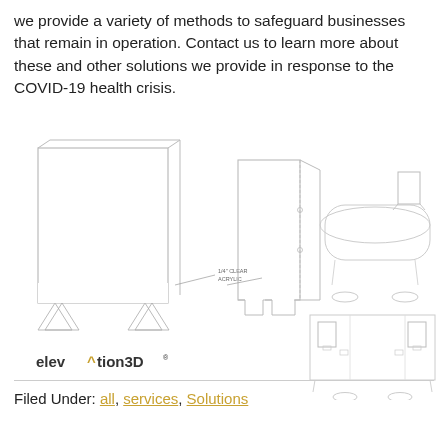we provide a variety of methods to safeguard businesses that remain in operation. Contact us to learn more about these and other solutions we provide in response to the COVID-19 health crisis.
[Figure (illustration): Technical line-drawing illustrations of COVID-19 protective acrylic barrier screens and workstation guard setups. Left: a freestanding single-panel clear acrylic barrier with triangular feet, labeled '1/4" CLEAR ACRYLIC'. Middle: a two-panel hinged folding acrylic barrier with feet cutouts. Top-right: a reception desk setup with an acrylic barrier panel on a curved counter with two floor circle markers. Bottom-right: a straight counter/desk setup with two acrylic barriers and two floor circle markers. Below the illustrations is the elevation3D logo.]
Filed Under: all, services, Solutions